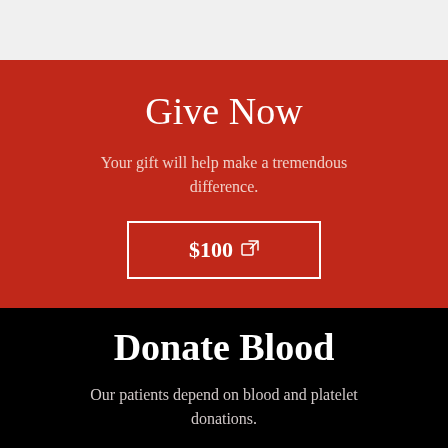Give Now
Your gift will help make a tremendous difference.
$100
Donate Blood
Our patients depend on blood and platelet donations.